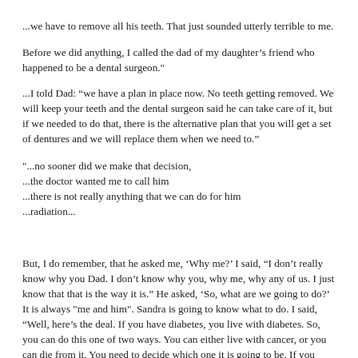...we have to remove all his teeth.  That just sounded utterly terrible to me.
Before we did anything, I called the dad of my daughter's friend who happened to be a dental surgeon."
...I told Dad:  "we have a plan in place now.  No teeth getting removed.  We will keep your teeth and the dental surgeon said he can take care of it, but if we needed to do that, there is the alternative plan that you will get a set of dentures and we will replace them when we need to."
"...no sooner did we make that decision,
...the doctor wanted me to call him
...there is not really anything that we can do for him
...radiation...
But, I do remember, that he asked me, 'Why me?' I said, “I don’t really know why you Dad. I don’t know why you, why me, why any of us. I just know that that is the way it is.” He asked, 'So, what are we going to do?' It is always "me and him".  Sandra is going to know what to do.  I said, “Well, here’s the deal.  If you have diabetes, you live with diabetes.  So, you can do this one of two ways.  You can either live with cancer, or you can die from it.  You need to decide which one it is going to be.  If you want to die from cancer, it is going to be a bit of a lonely journey.  If you want to live with cancer – we will do everything we can do to make you live with cancer.  So, if you have diabetes, and you don’t